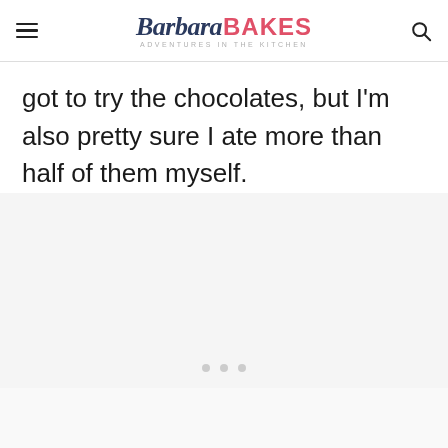Barbara BAKES — ADVENTURES in the KITCHEN
got to try the chocolates, but I'm also pretty sure I ate more than half of them myself.